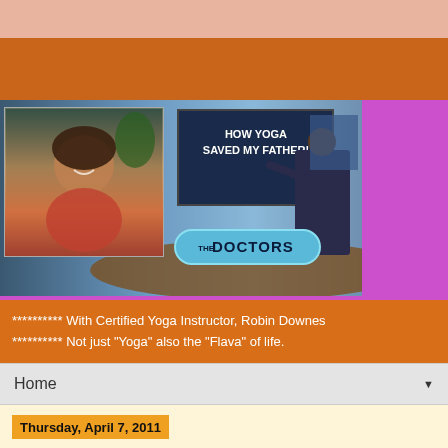[Figure (screenshot): TV show screenshot showing 'The Doctors' set with a woman appearing via video call on the left and a host pointing to a screen reading 'HOW YOGA SAVED MY FATHER!' on the right]
********** With Certified Yoga Instructor, Robin Downes
********** Not just "Yoga" also the "Flava" of life.
Home
Thursday, April 7, 2011
Summer Spiritual & Sensual Sizzle by the Sea - Retreat Weekend Getaway